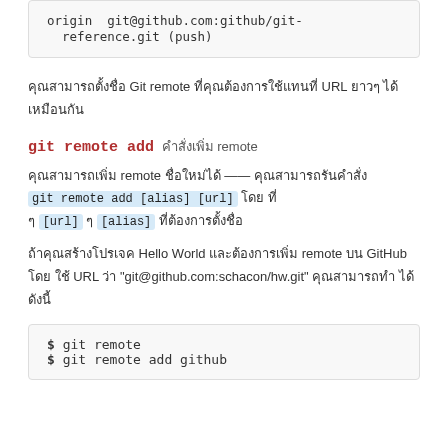origin  git@github.com:github/git-reference.git (push)
คุณสามารถตั้งชื่อ Git remote ที่คุณต้องการใช้แทนที่ URL ยาวๆ ได้เหมือนกัน
git remote add คำสั่งเพิ่ม remote
คุณสามารถเพิ่ม remote ชื่อใหม่ได้ — คุณสามารถรันคำสั่ง git remote add [alias] [url] โดยที่ [url] คือ [alias] ที่ต้องการตั้งชื่อ
ถ้าคุณสร้างโปรเจค Hello World และต้องการเพิ่ม remote บน GitHub โดยใช้ URL ว่า "git@github.com:schacon/hw.git" คุณสามารถทำได้ดังนี้
$ git remote
$ git remote add github